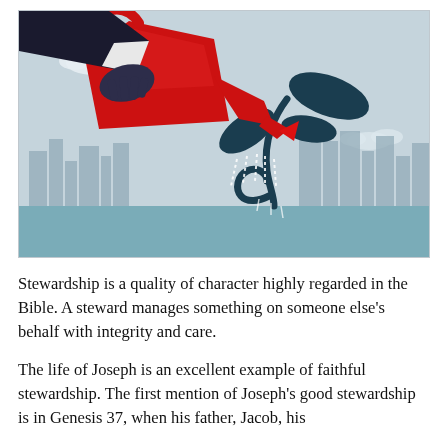[Figure (illustration): Illustration of a hand in a dark suit sleeve holding a red watering can, pouring water onto a dark teal stylized plant/seedling with curled stem and leaves, set against a light blue-grey city skyline background with clouds.]
Stewardship is a quality of character highly regarded in the Bible. A steward manages something on someone else's behalf with integrity and care.
The life of Joseph is an excellent example of faithful stewardship. The first mention of Joseph's good stewardship is in Genesis 37, when his father, Jacob, his...